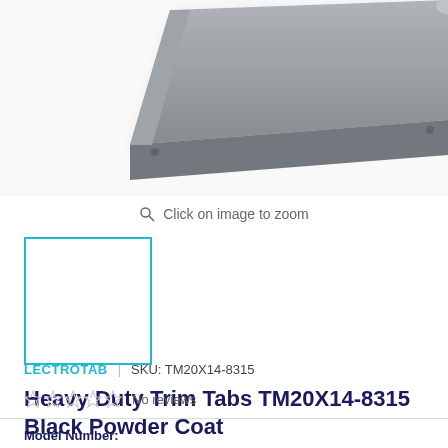[Figure (photo): Gray metal shelf or trim tab plate viewed at an angle from above, showing corner detail with rounded edges on white background]
Click on image to zoom
[Figure (photo): Small thumbnail image placeholder with cyan/teal border outline, white interior]
Heavy Duty Trim Tabs TM20X14-8315 Black Powder Coat
LECTROTAB | SKU: TM20X14-8315
No reviews
Model Number: